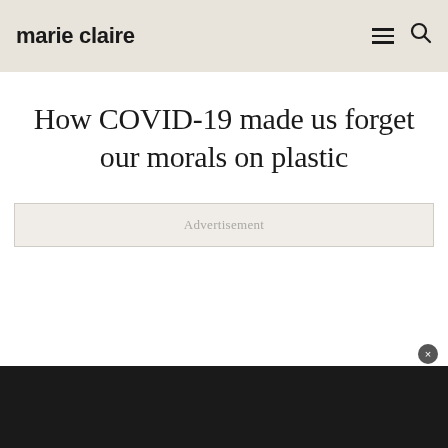marie claire
How COVID-19 made us forget our morals on plastic
Advertisement
[Figure (other): Dark advertisement banner at the bottom of the page with a close (×) button]